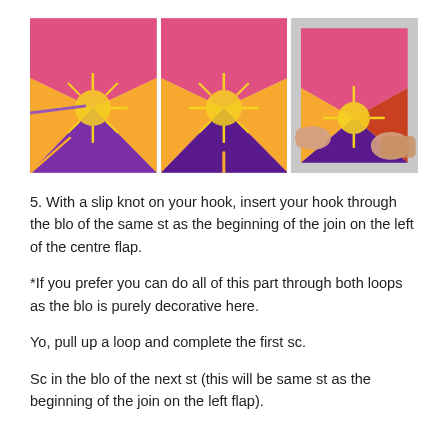[Figure (photo): Three side-by-side photos of a colorful crochet project in pink, orange, purple and yellow, showing different stages or angles of a folded/joined piece being worked on with a crochet hook.]
5. With a slip knot on your hook, insert your hook through the blo of the same st as the beginning of the join on the left of the centre flap.
*If you prefer you can do all of this part through both loops as the blo is purely decorative here.
Yo, pull up a loop and complete the first sc.
Sc in the blo of the next st (this will be same st as the beginning of the join on the left flap).